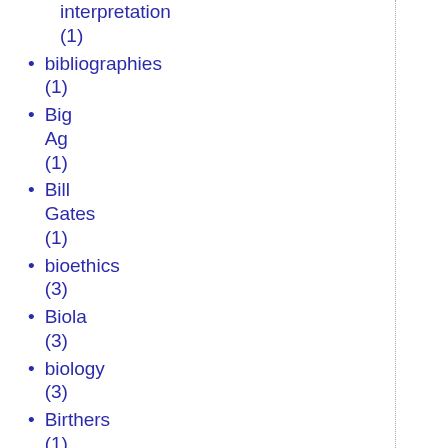interpretation (1)
bibliographies (1)
Big Ag (1)
Bill Gates (1)
bioethics (3)
Biola (3)
biology (3)
Birthers (1)
Birthright citizenship (1)
Bishop Barron (1)
Black